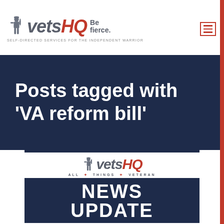[Figure (logo): VetsHQ logo with soldier silhouette, 'vets' in gray italic, 'HQ' in red italic, 'Be fierce.' tagline, subtitle 'Self-Directed Services for the Independent Warrior']
Posts tagged with 'VA reform bill'
[Figure (logo): VetsHQ ALL THINGS VETERAN logo with NEWS UPDATE banner in navy blue]